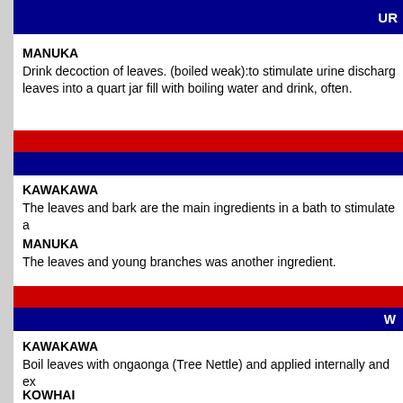UR
MANUKA
Drink decoction of leaves. (boiled weak):to stimulate urine discharg leaves into a quart jar fill with boiling water and drink, often.
[Figure (infographic): Red and dark blue horizontal banner divider]
KAWAKAWA
The leaves and bark are the main ingredients in a bath to stimulate a
MANUKA
The leaves and young branches was another ingredient.
[Figure (infographic): Red and dark blue horizontal banner divider with W text]
KAWAKAWA
Boil leaves with ongaonga (Tree Nettle) and applied internally and ex
KOWHAI